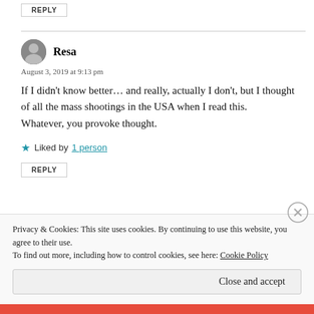REPLY
Resa
August 3, 2019 at 9:13 pm
If I didn't know better… and really, actually I don't, but I thought of all the mass shootings in the USA when I read this.
Whatever, you provoke thought.
Liked by 1 person
REPLY
Privacy & Cookies: This site uses cookies. By continuing to use this website, you agree to their use.
To find out more, including how to control cookies, see here: Cookie Policy
Close and accept